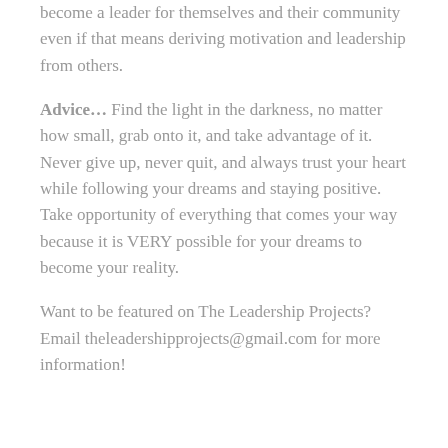become a leader for themselves and their community even if that means deriving motivation and leadership from others.
Advice… Find the light in the darkness, no matter how small, grab onto it, and take advantage of it. Never give up, never quit, and always trust your heart while following your dreams and staying positive. Take opportunity of everything that comes your way because it is VERY possible for your dreams to become your reality.
Want to be featured on The Leadership Projects? Email theleadershipprojects@gmail.com for more information!